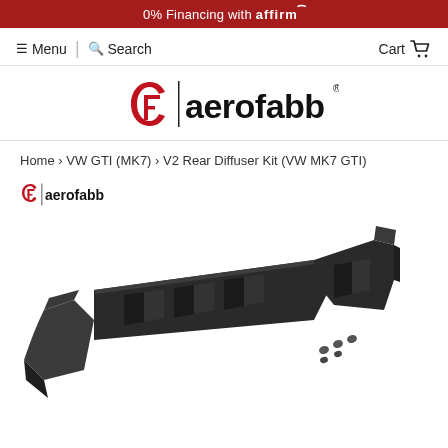0% Financing with affirm
Menu | Search | Cart
[Figure (logo): aerofabb logo - stylized 'af' monogram followed by vertical bar and 'aerofabb.' wordmark in black]
Home › VW GTI (MK7) › V2 Rear Diffuser Kit (VW MK7 GTI)
[Figure (photo): Product photo of V2 Rear Diffuser Kit for VW MK7 GTI - black plastic multi-fin rear diffuser shown disassembled in two main pieces with small hardware screws, on white background. Small aerofabb logo in top left corner of photo.]